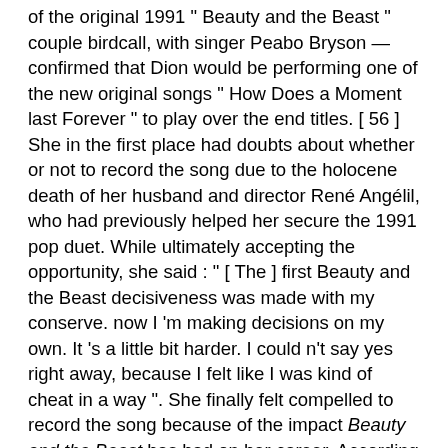of the original 1991 " Beauty and the Beast " couple birdcall, with singer Peabo Bryson — confirmed that Dion would be performing one of the new original songs " How Does a Moment last Forever " to play over the end titles. [ 56 ] She in the first place had doubts about whether or not to record the song due to the holocene death of her husband and director René Angélil, who had previously helped her secure the 1991 pop duet. While ultimately accepting the opportunity, she said : " [ The ] first Beauty and the Beast decisiveness was made with my conserve. now I 'm making decisions on my own. It 's a little bit harder. I could n't say yes right away, because I felt like I was kind of cheat in a way ". She finally felt compelled to record the song because of the impact Beauty and the Beast has had on her career. According to Dion, " I was at the begin of my career, it put me on the map, it put me where I am today ". besides, Josh Groban was announced to be performing the new master birdcall " Evermore " six days late. [ 57 ] [ 58 ] [ 59 ] [ 60 ] The 2017 film features a remake of the 1991 original song recorded as a duet by Ariana Grande and John Legend. [ 61 ] [ 62 ] Grande and Legend 's update